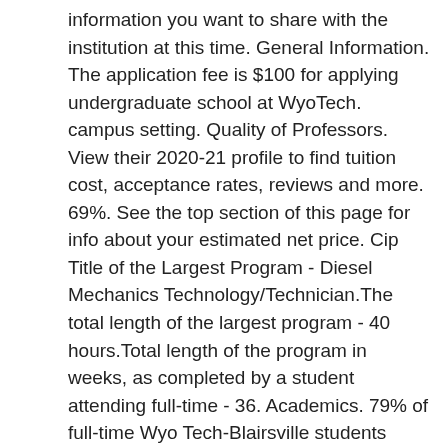information you want to share with the institution at this time. General Information. The application fee is $100 for applying undergraduate school at WyoTech. campus setting. Quality of Professors. View their 2020-21 profile to find tuition cost, acceptance rates, reviews and more. 69%. See the top section of this page for info about your estimated net price. Cip Title of the Largest Program - Diesel Mechanics Technology/Technician.The total length of the largest program - 40 hours.Total length of the program in weeks, as completed by a student attending full-time - 36. Academics. 79% of full-time Wyo Tech-Blairsville students completed their education program in 150 percent of time: graduation rate is above national average. Know Your Chances to Get In Wyotech-Daytona with SAT/ACT Scores and Admission Stats . Wyo Tech-Blairsville in Blairsville, Pennsylvania